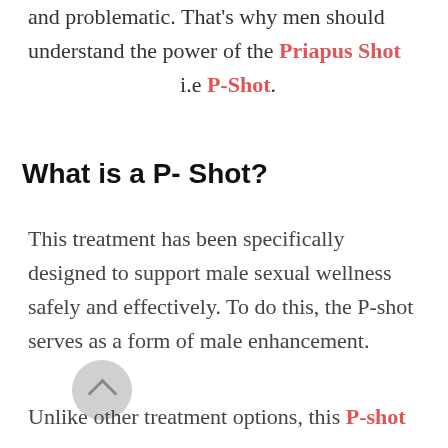and problematic. That's why men should understand the power of the Priapus Shot i.e P-Shot.
What is a P- Shot?
This treatment has been specifically designed to support male sexual wellness safely and effectively. To do this, the P-shot serves as a form of male enhancement.
Unlike other treatment options, this P-shot